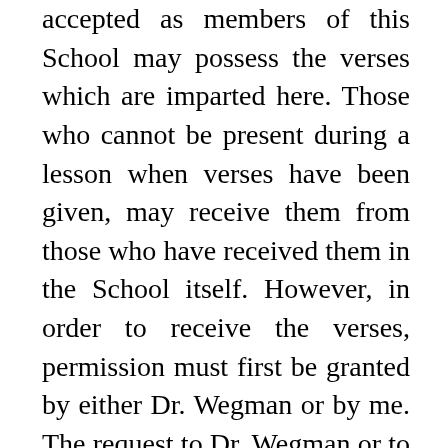accepted as members of this School may possess the verses which are imparted here. Those who cannot be present during a lesson when verses have been given, may receive them from those who have received them in the School itself. However, in order to receive the verses, permission must first be granted by either Dr. Wegman or by me. The request to Dr. Wegman or to me can only be made by the one who wants to give the verses to another. Therefore, the one who wants to receive them should not request them; it would serve no purpose. He can go to someone and ask that he be given them; but the one who gives them must ask permission in every case. This is